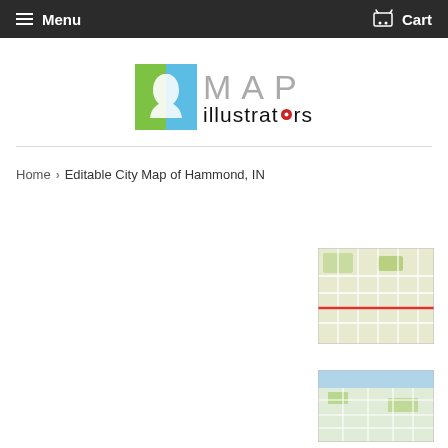Menu   Cart
[Figure (logo): MAP illustrators logo with green and blue face silhouette icon]
Home  >  Editable City Map of Hammond, IN
[Figure (map): Thumbnail of editable city map of Hammond, IN — street grid map]
[Figure (map): Second thumbnail of editable city map of Hammond, IN]